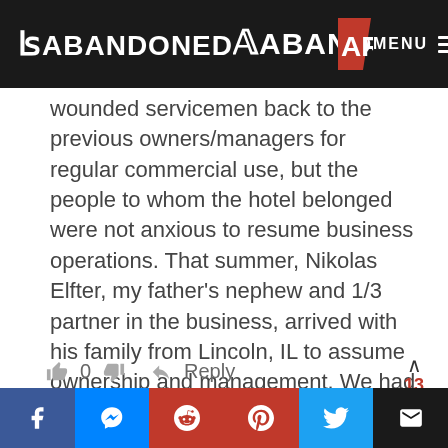ABANDONED AR — MENU
wounded servicemen back to the previous owners/managers for regular commercial use, but the people to whom the hotel belonged were not anxious to resume business operations. That summer, Nikolas Elfter, my father's nephew and 1/3 partner in the business, arrived with his family from Lincoln, IL to assume ownership and management. We had a home on Lake Hamilton that was a rowdy boy's dream, but my parents devotion to the business meant that I grew up as much... Read more »
0   Reply
Facebook  Messenger  Reddit  Pinterest  Twitter  Email